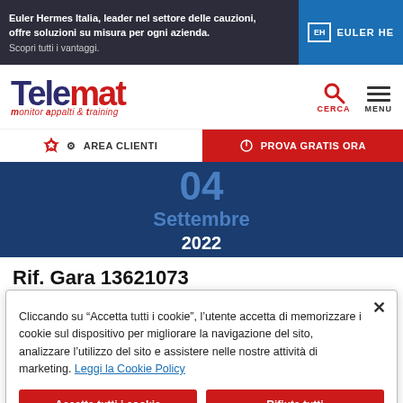[Figure (screenshot): Euler Hermes Italia advertisement banner with dark background, logo and text about cauzioni solutions]
[Figure (logo): Telemat logo - monitor appalti & training, with search and menu icons]
AREA CLIENTI
PROVA GRATIS ORA
04
Settembre
2022
Rif. Gara 13621073
Cliccando su “Accetta tutti i cookie”, l’utente accetta di memorizzare i cookie sul dispositivo per migliorare la navigazione del sito, analizzare l’utilizzo del sito e assistere nelle nostre attività di marketing. Leggi la Cookie Policy
Accetta tutti i cookie
Rifiuta tutti